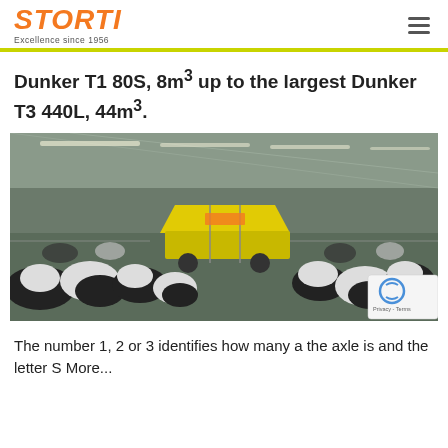STORTI — Excellence since 1956
Dunker T1 80S, 8m³ up to the largest Dunker T3 440L, 44m³.
[Figure (photo): Large barn interior with many black-and-white dairy cows and a yellow Storti feed mixer wagon in the center aisle.]
The number 1, 2 or 3 identifies how many a the axle is and the letter S More...